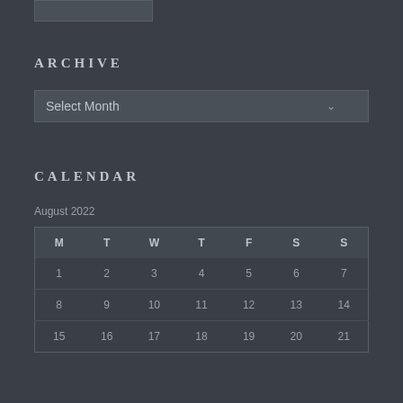[Figure (other): Partial image or widget visible at top of page]
ARCHIVE
Select Month
CALENDAR
August 2022
| M | T | W | T | F | S | S |
| --- | --- | --- | --- | --- | --- | --- |
| 1 | 2 | 3 | 4 | 5 | 6 | 7 |
| 8 | 9 | 10 | 11 | 12 | 13 | 14 |
| 15 | 16 | 17 | 18 | 19 | 20 | 21 |